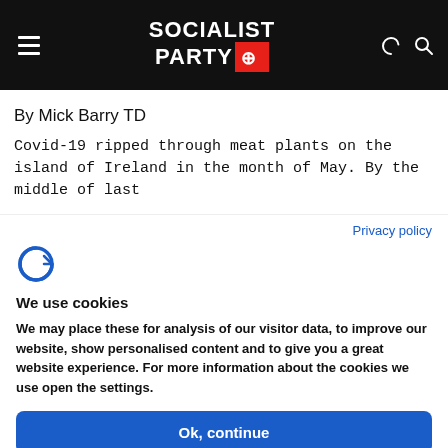Socialist Party
By Mick Barry TD
Covid-19 ripped through meat plants on the island of Ireland in the month of May. By the middle of last
Privacy policy
[Figure (logo): Cookie consent provider logo - stylized letter C with a notch]
We use cookies
We may place these for analysis of our visitor data, to improve our website, show personalised content and to give you a great website experience. For more information about the cookies we use open the settings.
Ok, continue
Deny
No, adjust